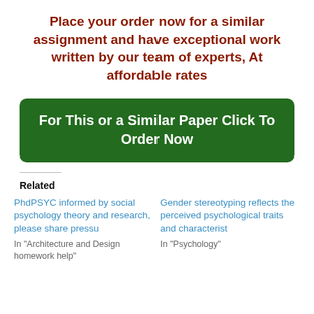Place your order now for a similar assignment and have exceptional work written by our team of experts, At affordable rates
For This or a Similar Paper Click To Order Now
Related
PhdPSYC informed by social psychology theory and research, please share pressu
In "Architecture and Design homework help"
Gender stereotyping reflects the perceived psychological traits and characterist
In "Psychology"